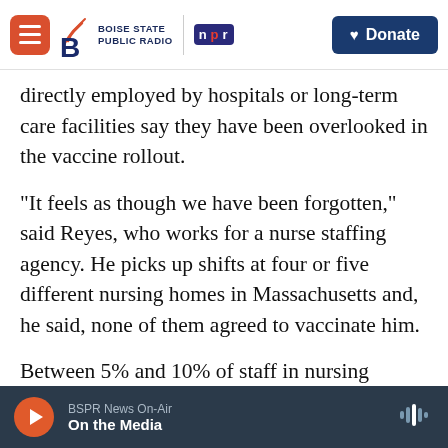Boise State Public Radio | NPR | Donate
directly employed by hospitals or long-term care facilities say they have been overlooked in the vaccine rollout.
"It feels as though we have been forgotten," said Reyes, who works for a nurse staffing agency. He picks up shifts at four or five different nursing homes in Massachusetts and, he said, none of them agreed to vaccinate him.
Between 5% and 10% of staff in nursing homes are people like Reyes. His staffing agency, IntelyCare, surveyed their nurses and nursing assistants in Massachusetts and more than half report being
BSPR News On-Air | On the Media